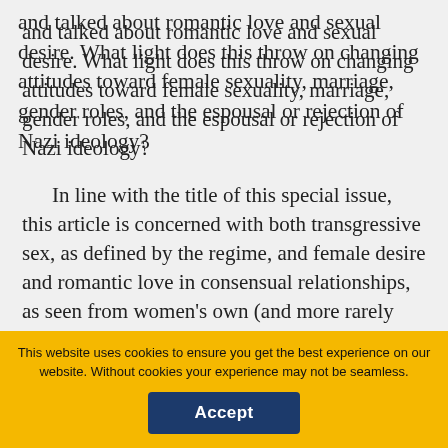and talked about romantic love and sexual desire. What light does this throw on changing attitudes toward female sexuality, marriage, gender roles, and the espousal or rejection of Nazi ideology?
In line with the title of this special issue, this article is concerned with both transgressive sex, as defined by the regime, and female desire and romantic love in consensual relationships, as seen from women's own (and more rarely from their husbands' or b[oyfriends'] point of view. In this
collapse
You are not currently authenticated. If you would like to authenticate using a different subscribed institution or
This website uses cookies to ensure you get the best experience on our website. Without cookies your experience may not be seamless.
Accept